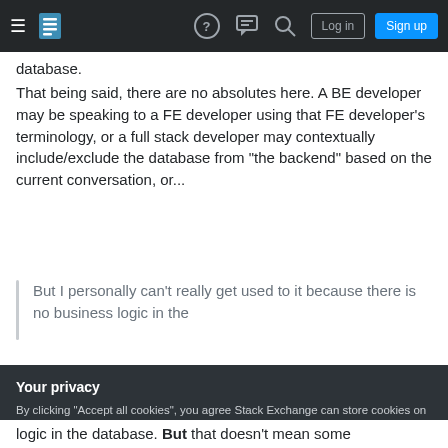Stack Exchange navigation bar with hamburger menu, logo, help, chat, search icons, Log in and Sign up buttons
database.
That being said, there are no absolutes here. A BE developer may be speaking to a FE developer using that FE developer's terminology, or a full stack developer may contextually include/exclude the database from "the backend" based on the current conversation, or...
But I personally can't really get used to it because there is no business logic in the
Your privacy
By clicking "Accept all cookies", you agree Stack Exchange can store cookies on your device and disclose information in accordance with our Cookie Policy.
Accept all cookies
Customize settings
logic in the database. But that doesn't mean some